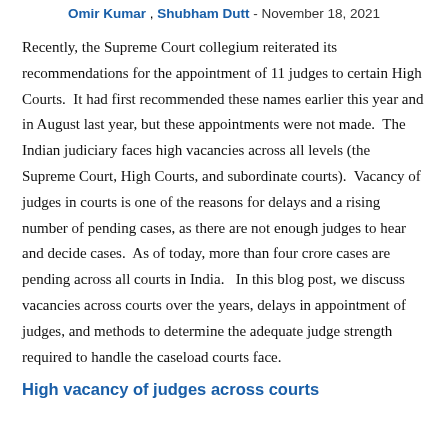Omir Kumar , Shubham Dutt - November 18, 2021
Recently, the Supreme Court collegium reiterated its recommendations for the appointment of 11 judges to certain High Courts. It had first recommended these names earlier this year and in August last year, but these appointments were not made. The Indian judiciary faces high vacancies across all levels (the Supreme Court, High Courts, and subordinate courts). Vacancy of judges in courts is one of the reasons for delays and a rising number of pending cases, as there are not enough judges to hear and decide cases. As of today, more than four crore cases are pending across all courts in India. In this blog post, we discuss vacancies across courts over the years, delays in appointment of judges, and methods to determine the adequate judge strength required to handle the caseload courts face.
High vacancy of judges across courts